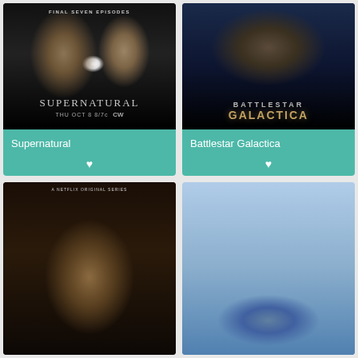[Figure (photo): TV show poster for Supernatural with two male faces and text 'FINAL SEVEN EPISODES', 'SUPERNATURAL', 'THU OCT 8 8/7c CW']
Supernatural
[Figure (photo): TV show poster for Battlestar Galactica with group of characters and metallic logo text 'BATTLESTAR GALACTICA']
Battlestar Galactica
[Figure (photo): Netflix original series TV show poster with group of characters in ornate setting (partially visible)]
[Figure (photo): Sci-fi TV show poster with a blue circular spacecraft or planet object (partially visible)]